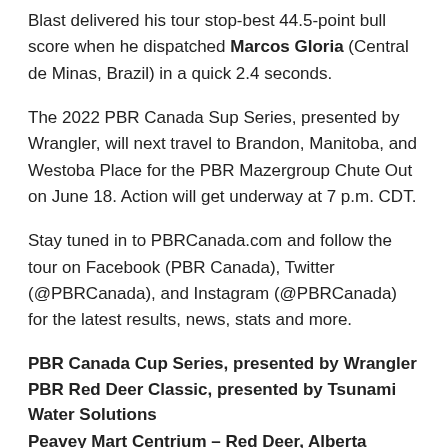Blast delivered his tour stop-best 44.5-point bull score when he dispatched Marcos Gloria (Central de Minas, Brazil) in a quick 2.4 seconds.
The 2022 PBR Canada Sup Series, presented by Wrangler, will next travel to Brandon, Manitoba, and Westoba Place for the PBR Mazergroup Chute Out on June 18. Action will get underway at 7 p.m. CDT.
Stay tuned in to PBRCanada.com and follow the tour on Facebook (PBR Canada), Twitter (@PBRCanada), and Instagram (@PBRCanada) for the latest results, news, stats and more.
PBR Canada Cup Series, presented by Wrangler
PBR Red Deer Classic, presented by Tsunami Water Solutions
Peavey Mart Centrium – Red Deer, Alberta
(Round 1-Round 2-Event Aggregate-Event Points)
1. Jake Gardner, 83.5-86.5-170.00-74 Points.